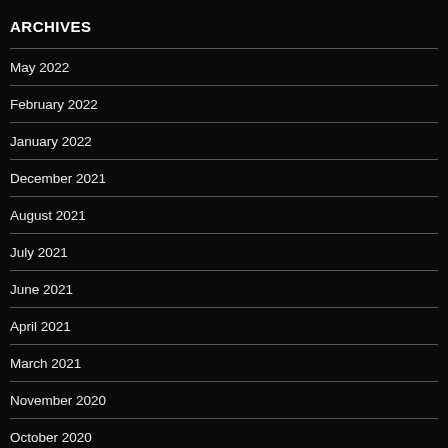ARCHIVES
May 2022
February 2022
January 2022
December 2021
August 2021
July 2021
June 2021
April 2021
March 2021
November 2020
October 2020